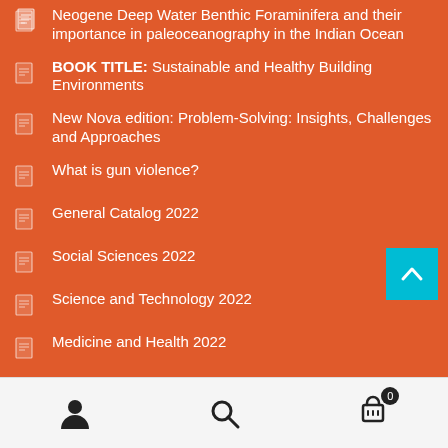Neogene Deep Water Benthic Foraminifera and their importance in paleoceanography in the Indian Ocean
BOOK TITLE: Sustainable and Healthy Building Environments
New Nova edition: Problem-Solving: Insights, Challenges and Approaches
What is gun violence?
General Catalog 2022
Social Sciences 2022
Science and Technology 2022
Medicine and Health 2022
BEYOND SPECIAL RELATIVITY – Looking for the